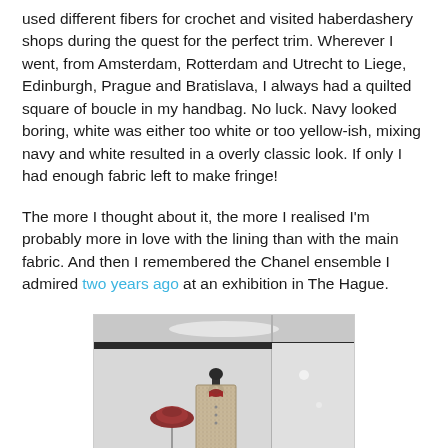used different fibers for crochet and visited haberdashery shops during the quest for the perfect trim. Wherever I went, from Amsterdam, Rotterdam and Utrecht to Liege, Edinburgh, Prague and Bratislava, I always had a quilted square of boucle in my handbag. No luck. Navy looked boring, white was either too white or too yellow-ish, mixing navy and white resulted in a overly classic look. If only I had enough fabric left to make fringe!

The more I thought about it, the more I realised I'm probably more in love with the lining than with the main fabric. And then I remembered the Chanel ensemble I admired two years ago at an exhibition in The Hague.
[Figure (photo): A museum display case showing a mannequin wearing a tweed Chanel-style jacket with a red bow/scarf tie. To the left is a red hat displayed on a stand. The setting is a glass-enclosed exhibition case with light grey/white background.]